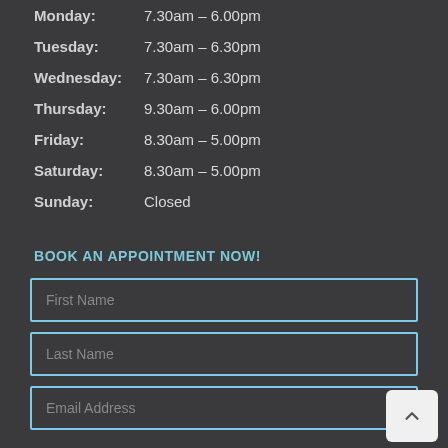Monday: 7.30am – 6.00pm
Tuesday: 7.30am – 6.30pm
Wednesday: 7.30am – 6.30pm
Thursday: 9.30am – 6.00pm
Friday: 8.30am – 5.00pm
Saturday: 8.30am – 5.00pm
Sunday: Closed
BOOK AN APPOINTMENT NOW!
First Name
Last Name
Email Address